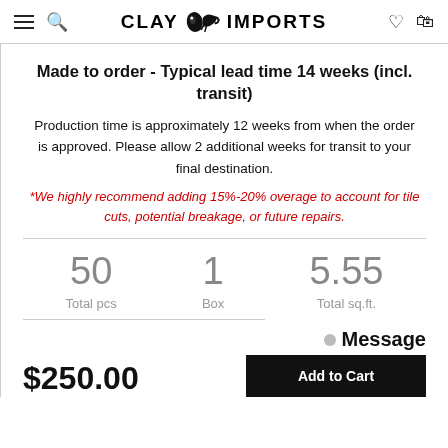CLAY IMPORTS
Made to order - Typical lead time 14 weeks (incl. transit)
Production time is approximately 12 weeks from when the order is approved. Please allow 2 additional weeks for transit to your final destination.
*We highly recommend adding 15%-20% overage to account for tile cuts, potential breakage, or future repairs.
50 Total pcs   1 Box   5.55 Total sq.ft.
$250.00
Add to Cart
Message